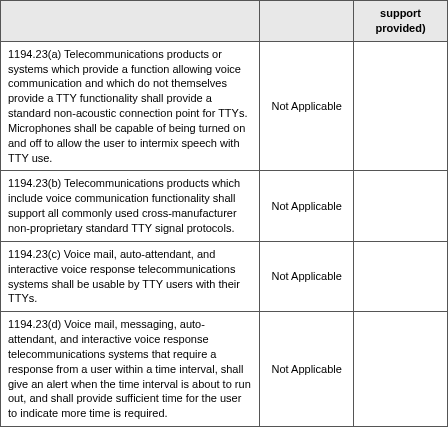|  |  | support provided) |
| --- | --- | --- |
| 1194.23(a) Telecommunications products or systems which provide a function allowing voice communication and which do not themselves provide a TTY functionality shall provide a standard non-acoustic connection point for TTYs. Microphones shall be capable of being turned on and off to allow the user to intermix speech with TTY use. | Not Applicable |  |
| 1194.23(b) Telecommunications products which include voice communication functionality shall support all commonly used cross-manufacturer non-proprietary standard TTY signal protocols. | Not Applicable |  |
| 1194.23(c) Voice mail, auto-attendant, and interactive voice response telecommunications systems shall be usable by TTY users with their TTYs. | Not Applicable |  |
| 1194.23(d) Voice mail, messaging, auto-attendant, and interactive voice response telecommunications systems that require a response from a user within a time interval, shall give an alert when the time interval is about to run out, and shall provide sufficient time for the user to indicate more time is required. | Not Applicable |  |